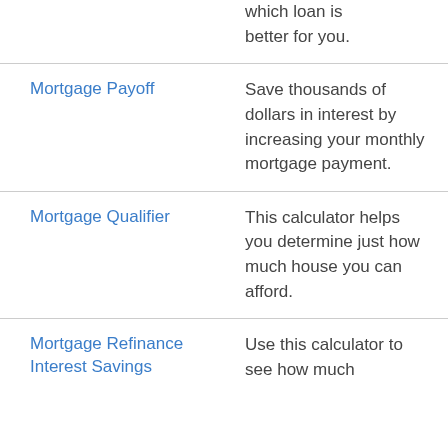which loan is better for you.
Mortgage Payoff
Save thousands of dollars in interest by increasing your monthly mortgage payment.
Mortgage Qualifier
This calculator helps you determine just how much house you can afford.
Mortgage Refinance Interest Savings
Use this calculator to see how much...